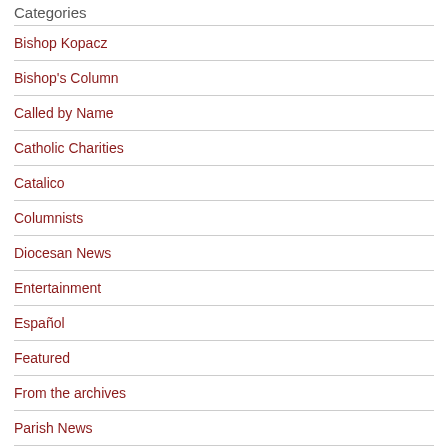Categories
Bishop Kopacz
Bishop's Column
Called by Name
Catholic Charities
Catalico
Columnists
Diocesan News
Entertainment
Español
Featured
From the archives
Parish News